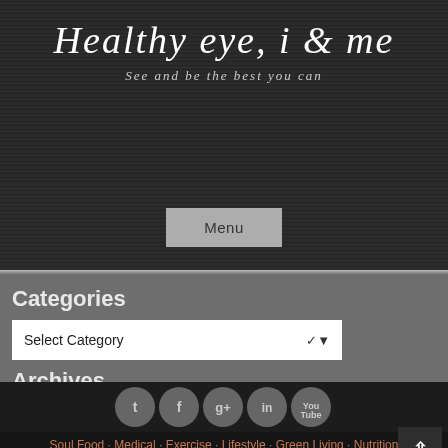Healthy eye, i & me
See and be the best you can
Menu
Categories
Select Category
Archives
Select Month
Soul Food · Medical · Exercise · Lifestyle · Green Living · Nutrition
Copyright © 2022 Danie Maritz. All rights reserved.